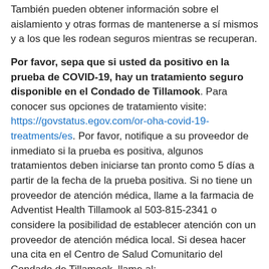También pueden obtener información sobre el aislamiento y otras formas de mantenerse a sí mismos y a los que les rodean seguros mientras se recuperan.
Por favor, sepa que si usted da positivo en la prueba de COVID-19, hay un tratamiento seguro disponible en el Condado de Tillamook. Para conocer sus opciones de tratamiento visite: https://govstatus.egov.com/or-oha-covid-19-treatments/es. Por favor, notifique a su proveedor de inmediato si la prueba es positiva, algunos tratamientos deben iniciarse tan pronto como 5 días a partir de la fecha de la prueba positiva. Si no tiene un proveedor de atención médica, llame a la farmacia de Adventist Health Tillamook al 503-815-2341 o considere la posibilidad de establecer atención con un proveedor de atención médica local. Si desea hacer una cita en el Centro de Salud Comunitario del Condado de Tillamook, llame al: